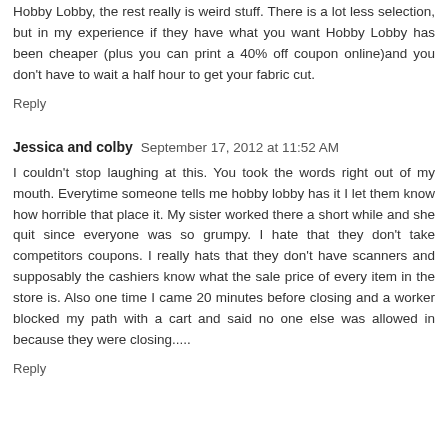Hobby Lobby, the rest really is weird stuff. There is a lot less selection, but in my experience if they have what you want Hobby Lobby has been cheaper (plus you can print a 40% off coupon online)and you don't have to wait a half hour to get your fabric cut.
Reply
Jessica and colby  September 17, 2012 at 11:52 AM
I couldn't stop laughing at this. You took the words right out of my mouth. Everytime someone tells me hobby lobby has it I let them know how horrible that place it. My sister worked there a short while and she quit since everyone was so grumpy. I hate that they don't take competitors coupons. I really hats that they don't have scanners and supposably the cashiers know what the sale price of every item in the store is. Also one time I came 20 minutes before closing and a worker blocked my path with a cart and said no one else was allowed in because they were closing.....
Reply